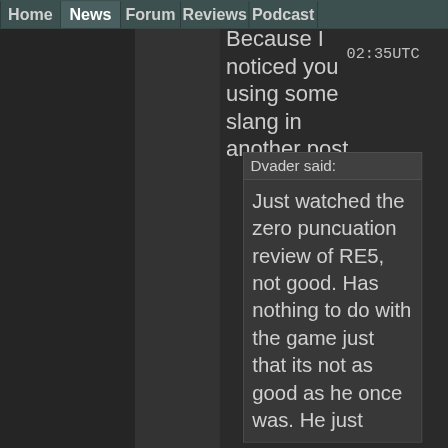Home | News | Forum | Reviews | Podcast
Because I noticed you using some slang in another post.
02:35UTC
Dvader said:
Just watched the zero puncuation review of RE5, not good. Has nothing to do with the game just that its not as good as he once was. He just